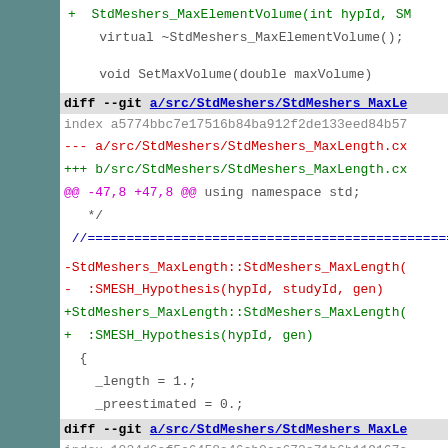[Figure (screenshot): Source code diff view showing changes to StdMeshers_MaxElementVolume and StdMeshers_MaxLength files in a git diff format. Left sidebar is teal. Code shows removed lines in red and added lines in green, with diff headers in gray and hunk markers in magenta.]